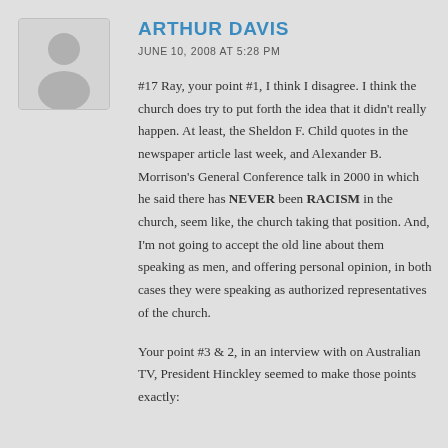[Figure (illustration): Default user avatar — grey silhouette of a person on a light grey rounded rectangle background]
ARTHUR DAVIS
JUNE 10, 2008 AT 5:28 PM
#17 Ray, your point #1, I think I disagree. I think the church does try to put forth the idea that it didn't really happen. At least, the Sheldon F. Child quotes in the newspaper article last week, and Alexander B. Morrison's General Conference talk in 2000 in which he said there has NEVER been RACISM in the church, seem like, the church taking that position. And, I'm not going to accept the old line about them speaking as men, and offering personal opinion, in both cases they were speaking as authorized representatives of the church.
Your point #3 & 2, in an interview with on Australian TV, President Hinckley seemed to make those points exactly: